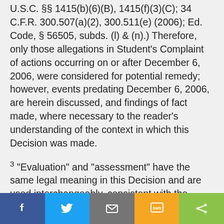U.S.C. §§ 1415(b)(6)(B), 1415(f)(3)(C); 34 C.F.R. 300.507(a)(2), 300.511(e) (2006); Ed. Code, § 56505, subds. (l) & (n).) Therefore, only those allegations in Student's Complaint of actions occurring on or after December 6, 2006, were considered for potential remedy; however, events predating December 6, 2006, are herein discussed, and findings of fact made, where necessary to the reader's understanding of the context in which this Decision was made.
3 "Evaluation" and "assessment" have the same legal meaning in this Decision and are used interchangeably, consistent with the terminology used by the parties, the witnesses and documentary
f  [Twitter bird]  [Mail]  SMS  <